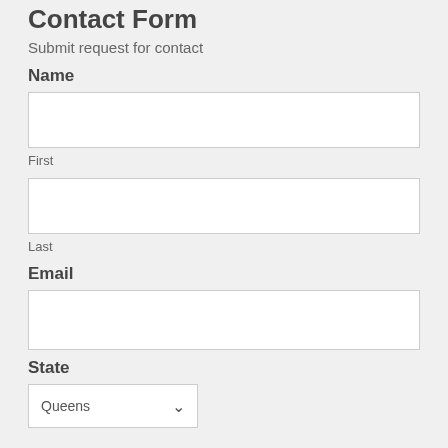Contact Form
Submit request for contact
Name
First
Last
Email
State
Queens